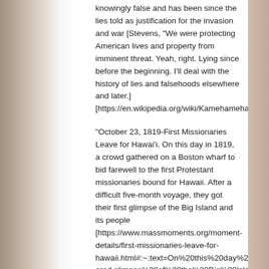knowingly false and has been since the lies told as justification for the invasion and war [Stevens, "We were protecting American lives and property from imminent threat. Yeah, right. Lying since before the beginning. I'll deal with the history of lies and falsehoods elsewhere and later.] [https://en.wikipedia.org/wiki/Kamehameha_II]
"October 23, 1819-First Missionaries Leave for Hawai'i. On this day in 1819, a crowd gathered on a Boston wharf to bid farewell to the first Protestant missionaries bound for Hawaii. After a difficult five-month voyage, they got their first glimpse of the Big Island and its people [https://www.massmoments.org/moment-details/first-missionaries-leave-for-hawaii.html#:~:text=On%20this%20day%20in%201819%2C%20a%20crowd%20gathered,glimpse%20of%20the%20Big%20Isla